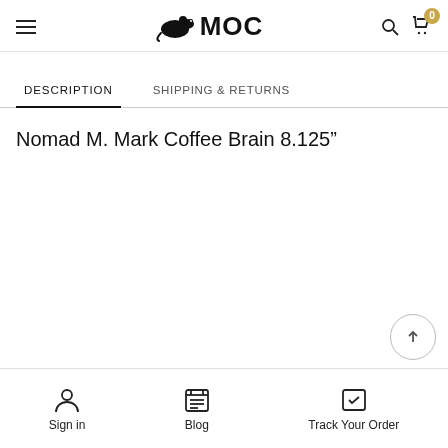MOC
DESCRIPTION | SHIPPING & RETURNS
Nomad M. Mark Coffee Brain 8.125”
Sign in | Blog | Track Your Order